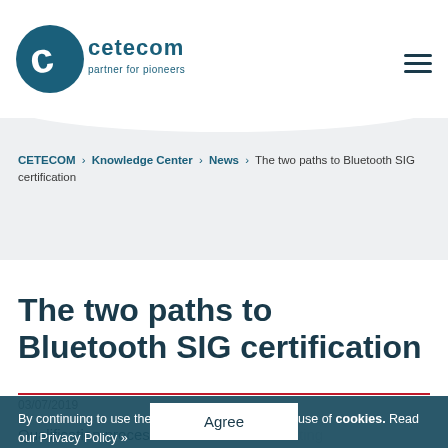[Figure (logo): CETECOM logo with circular C icon and text 'cetecom partner for pioneers' in dark teal]
CETECOM › Knowledge Center › News › The two paths to Bluetooth SIG certification
The two paths to Bluetooth SIG certification
03/07/2019
By continuing to use the website, you agree to the use of cookies. Read our Privacy Policy »
Qualification processes … hout additional testing